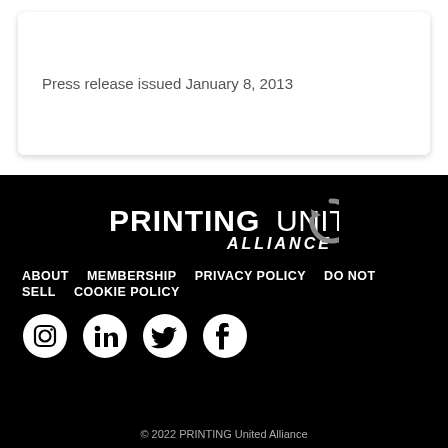Press release issued January 8, 2013
[Figure (logo): PRINTING United Alliance logo — white bold text on black background with circular arrow graphic]
ABOUT   MEMBERSHIP   PRIVACY POLICY   DO NOT SELL   COOKIE POLICY
[Figure (illustration): Social media icons: Instagram, LinkedIn, Twitter, Facebook — white icons on circular white background]
© 2022 PRINTING United Alliance